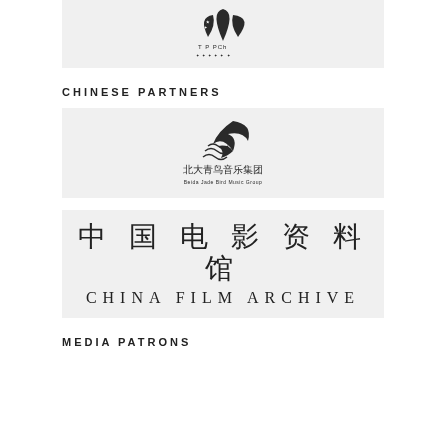[Figure (logo): T.P.PCh logo - three leaf/petal shapes with a star, text 'T P PCh' below in small letters with Chinese characters]
CHINESE PARTNERS
[Figure (logo): Beida Jade Bird Music Group logo - stylized bird/wing shape, Chinese text '北大青鸟音乐集团' and English 'Beida Jade Bird Music Group']
[Figure (logo): China Film Archive logo - Chinese characters '中国电影资料馆' and English 'CHINA FILM ARCHIVE']
MEDIA PATRONS